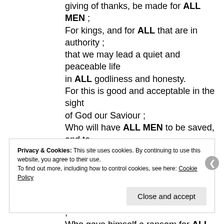giving of thanks, be made for ALL MEN ; For kings, and for ALL that are in authority ; that we may lead a quiet and peaceable life in ALL godliness and honesty. For this is good and acceptable in the sight of God our Saviour ; Who will have ALL MEN to be saved, and to come unto the knowledge of the truth. For there is one God, and one mediator between God and men, the man Christ Jesus ; Who gave himself a ransom for ALL, to be testified in due time.
Privacy & Cookies: This site uses cookies. By continuing to use this website, you agree to their use. To find out more, including how to control cookies, see here: Cookie Policy